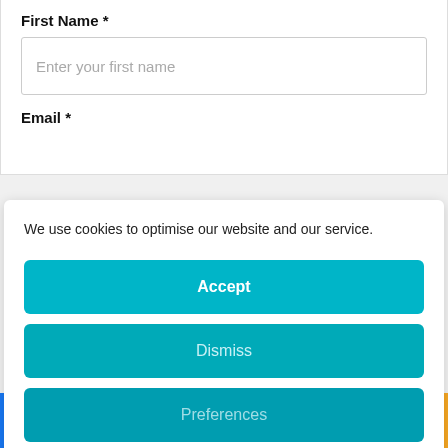First Name *
Enter your first name
Email *
We use cookies to optimise our website and our service.
Accept
Dismiss
Preferences
Cookie Policy   Privacy Policy
DIET, WELL-BEING   constipated, Constipation, IB...